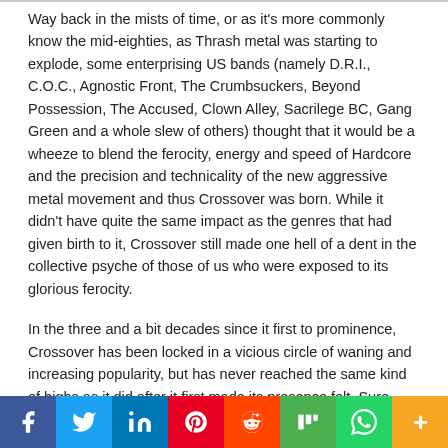Way back in the mists of time, or as it's more commonly know the mid-eighties, as Thrash metal was starting to explode, some enterprising US bands (namely D.R.I., C.O.C., Agnostic Front, The Crumbsuckers, Beyond Possession, The Accused, Clown Alley, Sacrilege BC, Gang Green and a whole slew of others) thought that it would be a wheeze to blend the ferocity, energy and speed of Hardcore and the precision and technicality of the new aggressive metal movement and thus Crossover was born. While it didn't have quite the same impact as the genres that had given birth to it, Crossover still made one hell of a dent in the collective psyche of those of us who were exposed to its glorious ferocity.
In the three and a bit decades since it first to prominence, Crossover has been locked in a vicious circle of waning and increasing popularity, but has never reached the same kind of highs as it did after it first made its presence felt. Sure, there are some great bands who have championed it – Municipal Waste,
[Figure (other): Social media sharing bar with icons for Facebook, Twitter, LinkedIn, Pinterest, Reddit, Mix, WhatsApp, and More]